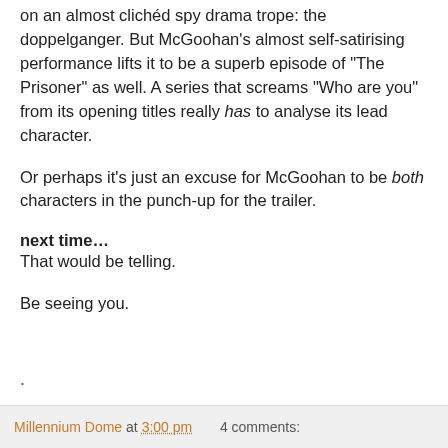on an almost clichéd spy drama trope: the doppelganger. But McGoohan's almost self-satirising performance lifts it to be a superb episode of "The Prisoner" as well. A series that screams "Who are you" from its opening titles really has to analyse its lead character.
Or perhaps it's just an excuse for McGoohan to be both characters in the punch-up for the trailer.
next time…
That would be telling.
Be seeing you.
Millennium Dome at 3:00 pm    4 comments: